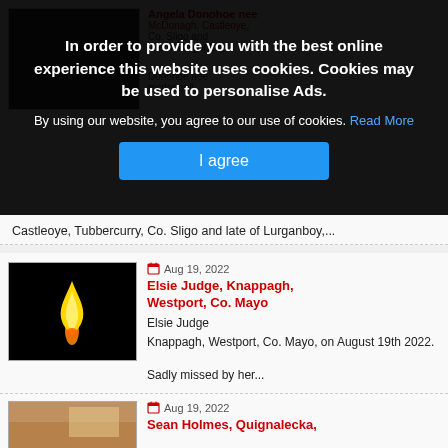In order to provide you with the best online experience this website uses cookies. Cookies may be used to personalise Ads.
By using our website, you agree to our use of cookies. Read More
[I agree button]
Castleoye, Tubbercurry, Co. Sligo and late of Lurganboy,...
Aug 19, 2022
Elsie Judge, Knappagh, Westport, Co. Mayo
Elsie Judge

Knappagh, Westport, Co. Mayo, on August 19th 2022.

Sadly missed by her...
Aug 19, 2022
Sean Holmes, Quignalecka,